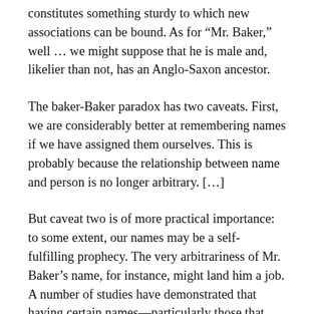constitutes something sturdy to which new associations can be bound. As for “Mr. Baker,” well … we might suppose that he is male and, likelier than not, has an Anglo-Saxon ancestor.
The baker-Baker paradox has two caveats. First, we are considerably better at remembering names if we have assigned them ourselves. This is probably because the relationship between name and person is no longer arbitrary. […]
But caveat two is of more practical importance: to some extent, our names may be a self-fulfilling prophecy. The very arbitrariness of Mr. Baker’s name, for instance, might land him a job. A number of studies have demonstrated that having certain names—particularly those that sound ethnic or lower-class (and thus contain demographic information that makes